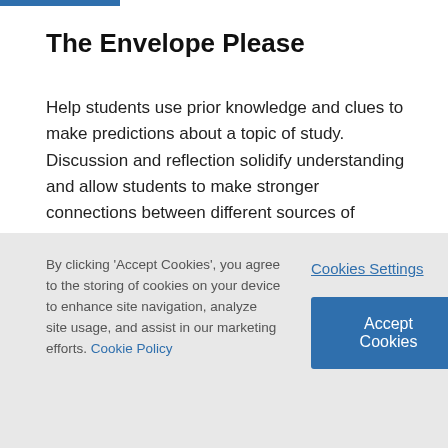The Envelope Please
Help students use prior knowledge and clues to make predictions about a topic of study. Discussion and reflection solidify understanding and allow students to make stronger connections between different sources of information.
By clicking 'Accept Cookies', you agree to the storing of cookies on your device to enhance site navigation, analyze site usage, and assist in our marketing efforts. Cookie Policy
Cookies Settings
Accept Cookies